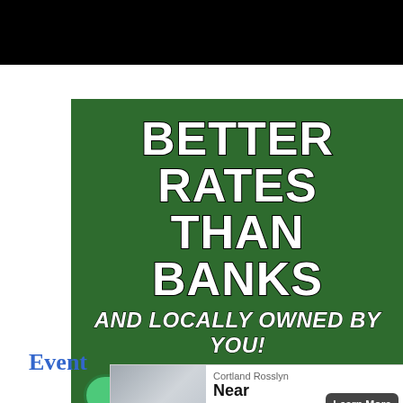[Figure (other): Black header bar at top of page]
[Figure (infographic): Advantage Credit Union advertisement. Green background with text: BETTER RATES THAN BANKS AND LOCALLY OWNED BY YOU! Open Account button. NCUA logo. Footer with diamond logo, Advantage Credit Union, Your Financial Advantage, 121 W. 3rd St. N. Newton]
Event
[Figure (infographic): Bottom overlay advertisement: Cortland Rosslyn Near Lincoln Park with Learn More button]